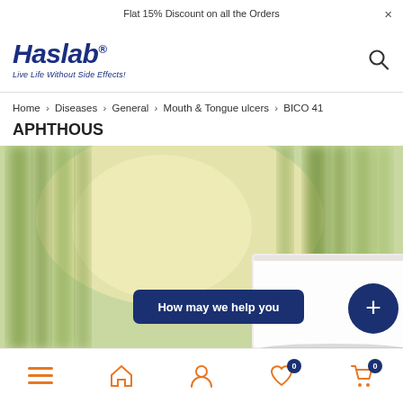Flat 15% Discount on all the Orders
[Figure (logo): Haslab logo with tagline 'Live Life Without Side Effects!']
Home > Diseases > General > Mouth & Tongue ulcers > BICO 41
APHTHOUS
[Figure (photo): Product photo showing white box/container against blurred bamboo forest background, with 'How may we help you' chat button overlay and blue plus circle button]
Bottom navigation: menu, home, user, wishlist (0), cart (0)